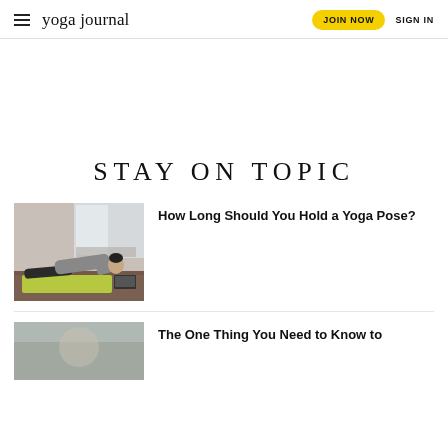yoga journal  JOIN NOW  SIGN IN
STAY ON TOPIC
[Figure (photo): Man doing a yoga plank pose on a green mat on a wooden floor, with a laptop in front of him and a radiator and window in the background.]
How Long Should You Hold a Yoga Pose?
[Figure (photo): Partial view of a yoga-related image, cropped at bottom of page.]
The One Thing You Need to Know to